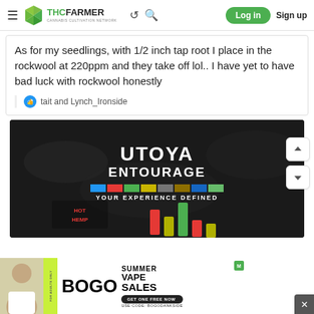THCFarmer - Cannabis Cultivation Network - Log in - Sign up
As for my seedlings, with 1/2 inch tap root I place in the rockwool at 220ppm and they take off lol.. I have yet to have bad luck with rockwool honestly
tait and Lynch_Ironside
[Figure (other): UTOYA ENTOURAGE advertisement banner - dark smoky background with text 'UTOYA ENTOURAGE - YOUR EXPERIENCE DEFINED' and colored squares bar]
[Figure (other): BOGO Summer Vape Sales advertisement banner with person photo, green background, and promotional text]